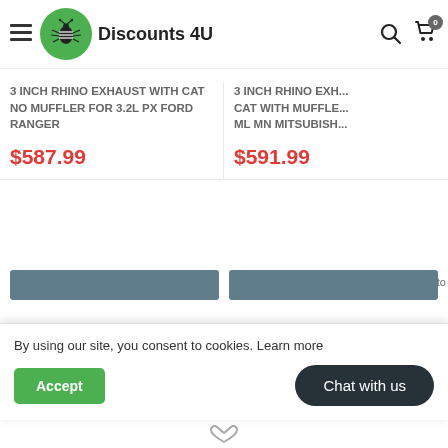Discounts 4U
3 INCH RHINO EXHAUST WITH CAT NO MUFFLER FOR 3.2L PX FORD RANGER
$587.99
3 INCH RHINO EXH... CAT WITH MUFFLE... ML MN MITSUBISH...
$591.99
By using our site, you consent to cookies. Learn more
Accept
Chat with us